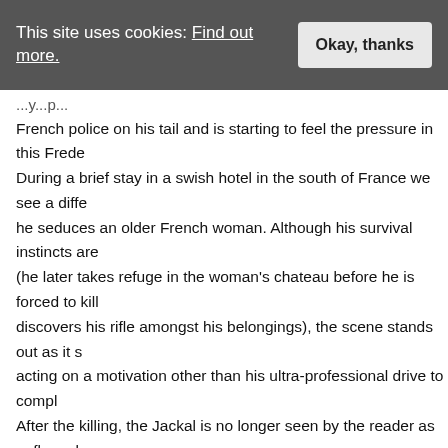This site uses cookies: Find out more. [Okay, thanks button]
French police on his tail and is starting to feel the pressure in this Frede During a brief stay in a swish hotel in the south of France we see a diffe he seduces an older French woman. Although his survival instincts are (he later takes refuge in the woman’s chateau before he is forced to kill discovers his rifle amongst his belongings), the scene stands out as it s acting on a motivation other than his ultra-professional drive to compl After the killing, the Jackal is no longer seen by the reader as unflappab
Psycho
Couldn’t really miss this one out now, could I? Robert Bloch’s 1959 hit is absorbing mysteries ever written and served as a blueprint for how to psychological analysis into the flow of a thriller. My favourite scene in t when Norman spies on Mary through the drilled hole in his office wall t bathroom after they’ve just shared an awkward dinner at the house fo arrival with no open restaurant nearby. Drunk, confused, angry and ex dizzy at the sight of Mary undressing (she was swaying back and forth wavy, and he couldn’t stand it, he wanted to pound on the wall, he wa